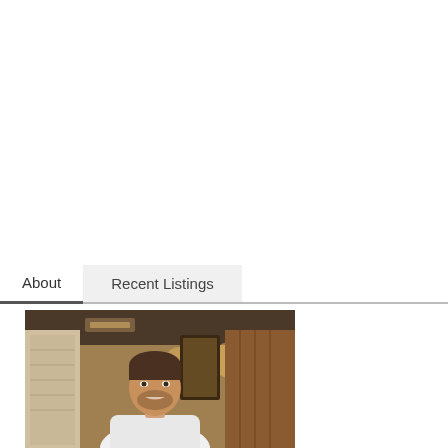About
Recent Listings
[Figure (photo): A man smiling, photographed indoors in what appears to be a restaurant or commercial interior with warm lighting, stone/brick columns, and wooden elements in the background.]